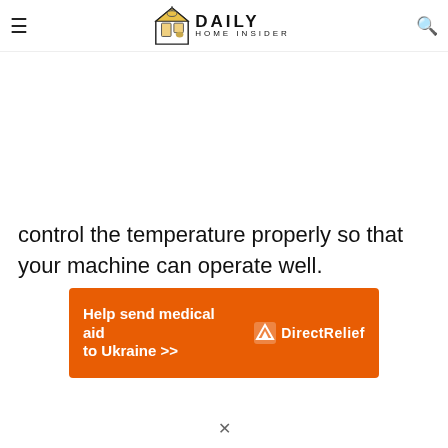Daily Home Insider
control the temperature properly so that your machine can operate well.
[Figure (infographic): Direct Relief advertisement banner: orange background with white bold text 'Help send medical aid to Ukraine >>' and Direct Relief logo on the right side.]
x